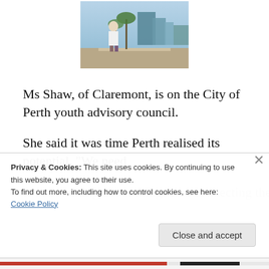[Figure (photo): A woman standing outdoors in a city setting with palm trees and buildings in the background]
Ms Shaw, of Claremont, is on the City of Perth youth advisory council.
She said it was time Perth realised its potential. “We need to start talking about things like connecting the city to the
Privacy & Cookies: This site uses cookies. By continuing to use this website, you agree to their use.
To find out more, including how to control cookies, see here: Cookie Policy